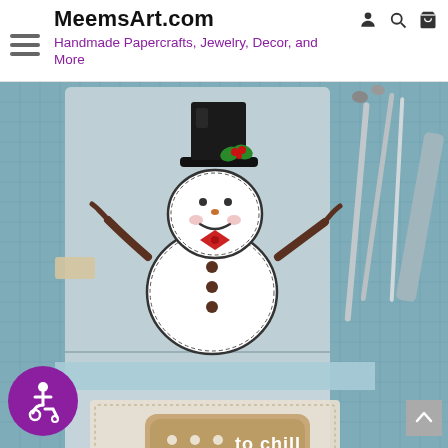MeemsArt.com — Handmade Papercrafts, Jewelry, Decor, and More
[Figure (photo): Photograph of a handmade papercraft greeting card featuring a snowman with a top hat, bow tie, and 'to chill' tag, propped open on a blue cutting mat with crafting tools in the background. A purple accessibility icon is visible in the lower left corner.]